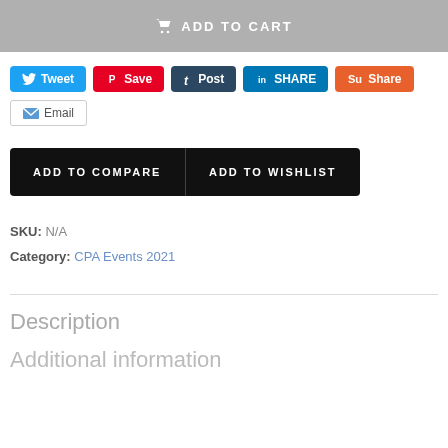[Figure (screenshot): Add to Cart button bar with grey background]
[Figure (infographic): Social share buttons: Tweet (Twitter), Save (Pinterest), Post (Tumblr), SHARE (LinkedIn), Share (StumbleUpon), Email]
[Figure (screenshot): ADD TO COMPARE and ADD TO WISHLIST buttons on black background]
SKU: N/A
Category: CPA Events 2021
Description
Additional information